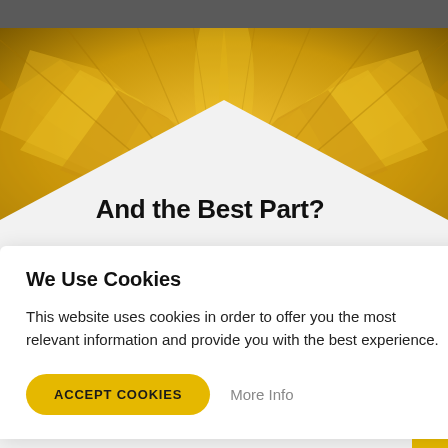[Figure (screenshot): Golden swirl/fan abstract background image in yellow and gold tones]
And the Best Part?
We Use Cookies
This website uses cookies in order to offer you the most relevant information and provide you with the best experience.
ACCEPT COOKIES   More Info